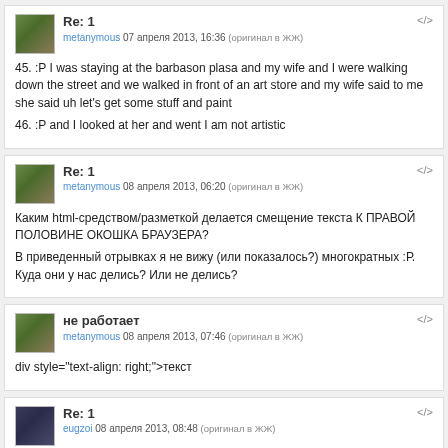Re: 1
metanymous 07 апреля 2013, 16:36 (оригинал в ЖЖ)
45. :P I was staying at the barbason plasa and my wife and I were walking down the street and we walked in front of an art store and my wife said to me she said uh let's get some stuff and paint
46. :P and I looked at her and went I am not artistic
Re: 1
metanymous 08 апреля 2013, 06:20 (оригинал в ЖЖ)
Каким html-средством/разметкой делается смещение текста К ПРАВОЙ ПОЛОВИНЕ ОКОШКА БРАУЗЕРА?
В приведенный отрывках я не вижу (или показалось?) многократных :Р. Куда они у нас делись? Или не делись?
не работает
metanymous 08 апреля 2013, 07:46 (оригинал в ЖЖ)
div style="text-align: right;">текст
Re: 1
eugzoi 08 апреля 2013, 08:48 (оригинал в ЖЖ)
Каким html-средстаом/разметкой делается смещение текста К ПРАВОЙ ПОЛОВИНЕ ОКОШКА БРАУЗЕРА?